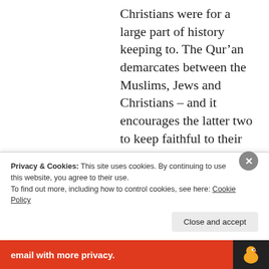Christians were for a large part of history keeping to. The Qur’an demarcates between the Muslims, Jews and Christians – and it encourages the latter two to keep faithful to their legal codes: Once, however, they become Muslim, they are now bound to the Prophet’s own legal code.
So my answer is– The
Privacy & Cookies: This site uses cookies. By continuing to use this website, you agree to their use.
To find out more, including how to control cookies, see here: Cookie Policy
Close and accept
email with more privacy.